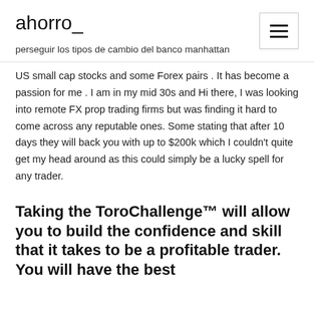ahorro_
perseguir los tipos de cambio del banco manhattan
US small cap stocks and some Forex pairs . It has become a passion for me . I am in my mid 30s and Hi there, I was looking into remote FX prop trading firms but was finding it hard to come across any reputable ones. Some stating that after 10 days they will back you with up to $200k which I couldn't quite get my head around as this could simply be a lucky spell for any trader.
Taking the ToroChallenge™ will allow you to build the confidence and skill that it takes to be a profitable trader. You will have the best